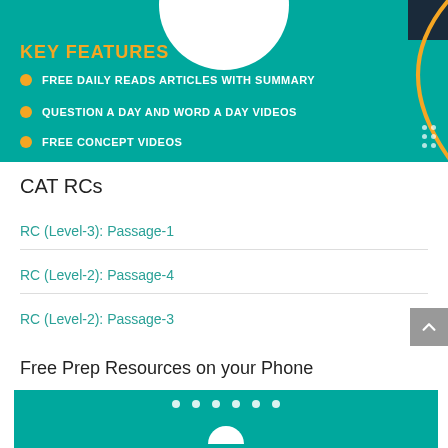[Figure (infographic): Teal banner with KEY FEATURES heading and three bullet points about free daily reads, question/word videos, and concept videos. Has a decorative gold arc and white dots.]
CAT RCs
RC (Level-3): Passage-1
RC (Level-2): Passage-4
RC (Level-2): Passage-3
Free Prep Resources on your Phone
[Figure (infographic): Bottom teal banner with dot navigation indicators and a white icon at the bottom.]